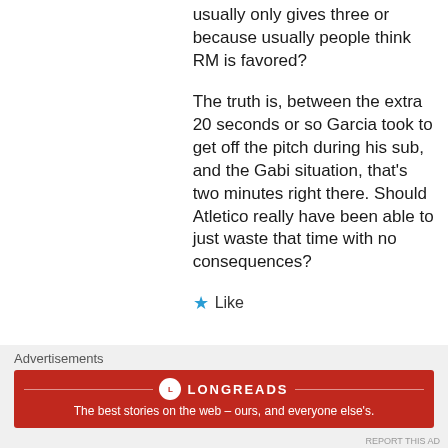usually only gives three or because usually people think RM is favored?
The truth is, between the extra 20 seconds or so Garcia took to get off the pitch during his sub, and the Gabi situation, that’s two minutes right there. Should Atletico really have been able to just waste that time with no consequences?
★ Like
Advertisements
[Figure (other): Longreads advertisement banner. Red background with Longreads logo and text: The best stories on the web – ours, and everyone else’s.]